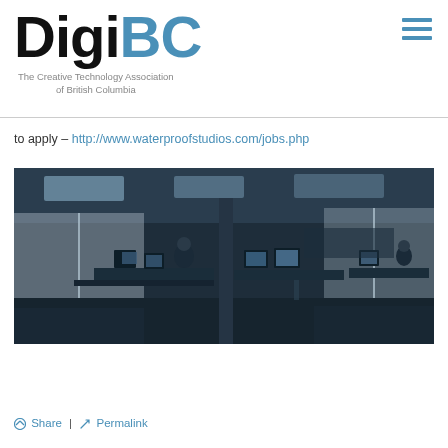DigiBC — The Creative Technology Association of British Columbia
to apply – http://www.waterproofstudios.com/jobs.php
[Figure (photo): Black and white / blue-tinted panoramic photo of an open-plan office with people working at computer desks, large windows in the background, and ceiling lights.]
Share | Permalink